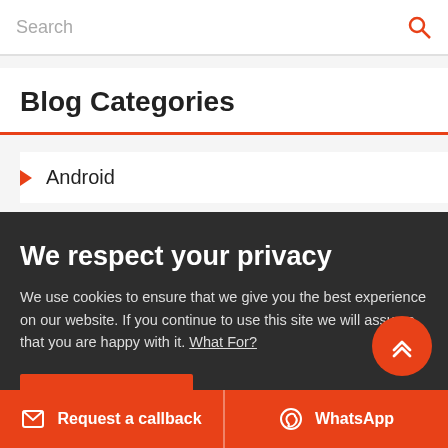Search
Blog Categories
Android
We respect your privacy
We use cookies to ensure that we give you the best experience on our website. If you continue to use this site we will assume that you are happy with it. What For?
I'm Fine!
Request a callback  WhatsApp